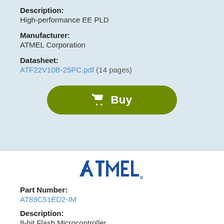Description:
High-performance EE PLD
Manufacturer:
ATMEL Corporation
Datasheet:
ATF22V10B-25PC.pdf  (14 pages)
[Figure (logo): Atmel corporation logo in blue with stylized A and TMEL text]
Part Number:
AT89C51ED2-IM
Description:
8-bit Flash Microcontroller